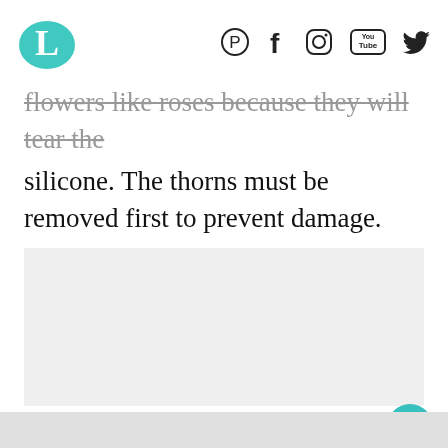L [logo] — Pinterest, Facebook, Instagram, YouTube, Twitter icons
flowers like roses because they will tear the silicone. The thorns must be removed first to prevent damage.
[Figure (photo): Light gray placeholder image area]
[Figure (infographic): Heart button (teal circle with heart icon), count 384, share button (circle with share icon), WHAT'S NEXT arrow with '20 Awesome iPhone Tips ...' text and thumbnail]
[Figure (photo): Bottom gray strip]